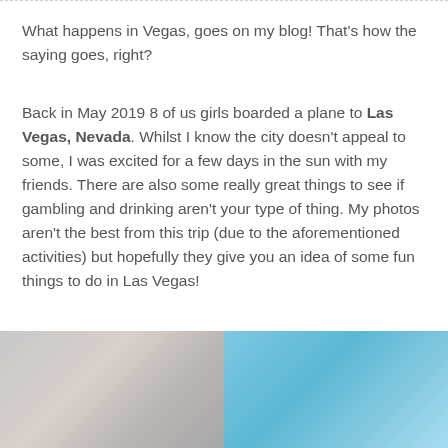What happens in Vegas, goes on my blog! That's how the saying goes, right?
Back in May 2019 8 of us girls boarded a plane to Las Vegas, Nevada. Whilst I know the city doesn't appeal to some, I was excited for a few days in the sun with my friends. There are also some really great things to see if gambling and drinking aren't your type of thing. My photos aren't the best from this trip (due to the aforementioned activities) but hopefully they give you an idea of some fun things to do in Las Vegas!
[Figure (photo): Two travel photos side by side: left photo shows a hazy/foggy outdoor scene with muted grey-pink tones; right photo shows a bright blue sky scene.]